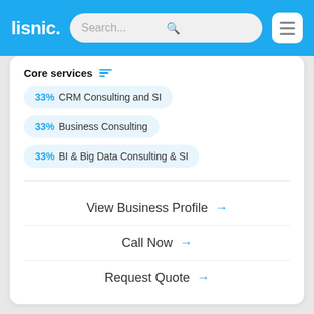lisnic. Search...
Core services
33% CRM Consulting and SI
33% Business Consulting
33% BI & Big Data Consulting & SI
View Business Profile →
Call Now →
Request Quote →
Visit Website